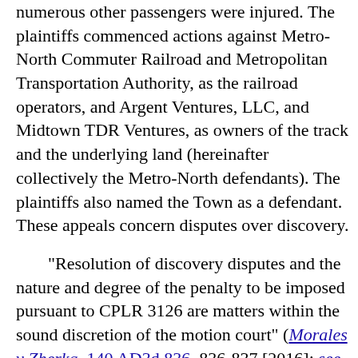numerous other passengers were injured. The plaintiffs commenced actions against Metro-North Commuter Railroad and Metropolitan Transportation Authority, as the railroad operators, and Argent Ventures, LLC, and Midtown TDR Ventures, as owners of the track and the underlying land (hereinafter collectively the Metro-North defendants). The plaintiffs also named the Town as a defendant. These appeals concern disputes over discovery.
"Resolution of discovery disputes and the nature and degree of the penalty to be imposed pursuant to CPLR 3126 are matters within the sound discretion of the motion court" (Morales v Zherka, 140 AD3d 836, 836-837 [2016]; see Honghui Kuang v MetLife, 159 AD3d 878, 881 [2018]). CPLR 3101 (a) provides that "